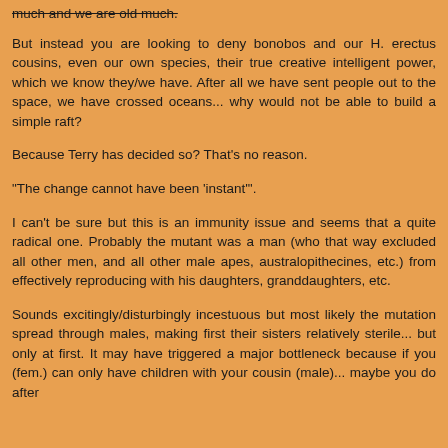much and we are old much.
But instead you are looking to deny bonobos and our H. erectus cousins, even our own species, their true creative intelligent power, which we know they/we have. After all we have sent people out to the space, we have crossed oceans... why would not be able to build a simple raft?
Because Terry has decided so? That's no reason.
"The change cannot have been 'instant'".
I can't be sure but this is an immunity issue and seems that a quite radical one. Probably the mutant was a man (who that way excluded all other men, and all other male apes, australopithecines, etc.) from effectively reproducing with his daughters, granddaughters, etc.
Sounds excitingly/disturbingly incestuous but most likely the mutation spread through males, making first their sisters relatively sterile... but only at first. It may have triggered a major bottleneck because if you (fem.) can only have children with your cousin (male)... maybe you do after